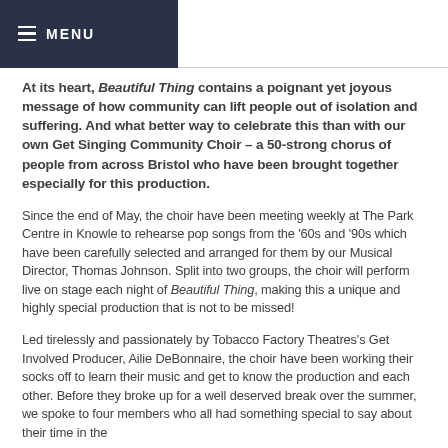MENU
At its heart, Beautiful Thing contains a poignant yet joyous message of how community can lift people out of isolation and suffering. And what better way to celebrate this than with our own Get Singing Community Choir – a 50-strong chorus of people from across Bristol who have been brought together especially for this production.
Since the end of May, the choir have been meeting weekly at The Park Centre in Knowle to rehearse pop songs from the '60s and '90s which have been carefully selected and arranged for them by our Musical Director, Thomas Johnson. Split into two groups, the choir will perform live on stage each night of Beautiful Thing, making this a unique and highly special production that is not to be missed!
Led tirelessly and passionately by Tobacco Factory Theatres's Get Involved Producer, Ailie DeBonnaire, the choir have been working their socks off to learn their music and get to know the production and each other. Before they broke up for a well deserved break over the summer, we spoke to four members who all had something special to say about their time in the